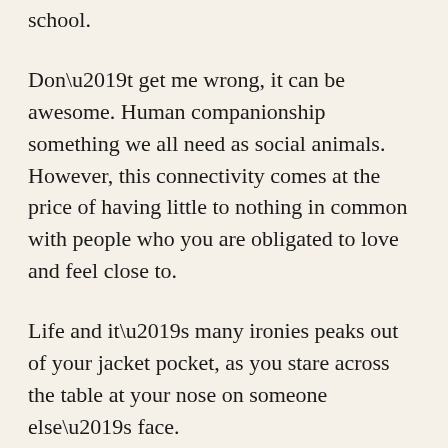school.
Don’t get me wrong, it can be awesome. Human companionship something we all need as social animals. However, this connectivity comes at the price of having little to nothing in common with people who you are obligated to love and feel close to.
Life and it’s many ironies peaks out of your jacket pocket, as you stare across the table at your nose on someone else’s face.
Seated across from me is a man that makes me